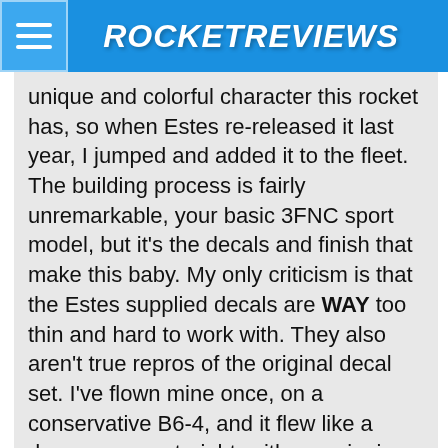ROCKETREVIEWS
unique and colorful character this rocket has, so when Estes re-released it last year, I jumped and added it to the fleet. The building process is fairly unremarkable, your basic 3FNC sport model, but it's the decals and finish that make this baby. My only criticism is that the Estes supplied decals are WAY too thin and hard to work with. They also aren't true repros of the original decal set. I've flown mine once, on a conservative B6-4, and it flew like a dream, arrow straight, with no spinning or arcing, and came down within 50 feet of the pad. I'm looking forward to it's second flight, this time on a C. So I didn't have one as a kid like most other BARs did. But I'm proud to own one now, and I'm looking forward to passing it on to my own son when he's a little older!